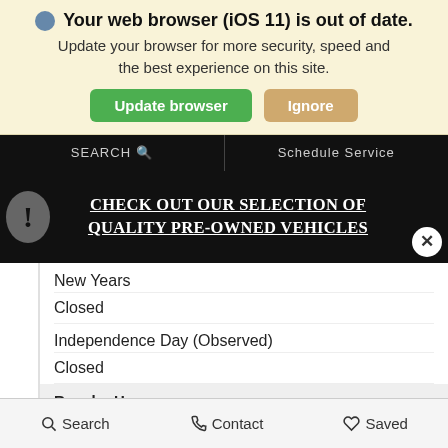🌐 Your web browser (iOS 11) is out of date. Update your browser for more security, speed and the best experience on this site.
Update browser | Ignore
SEARCH 🔍    Schedule Service
CHECK OUT OUR SELECTION OF QUALITY PRE-OWNED VEHICLES
New Years
Closed
Independence Day (Observed)
Closed
Regular Hours
Mon - Fri
7:00 AM - 6:00 PM
Sat
Search   Contact   Saved